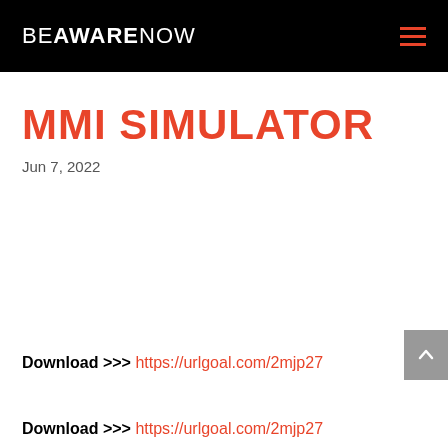BEAWARENOW
MMI SIMULATOR
Jun 7, 2022
Download >>> https://urlgoal.com/2mjp27
Download >>> https://urlgoal.com/2mjp27